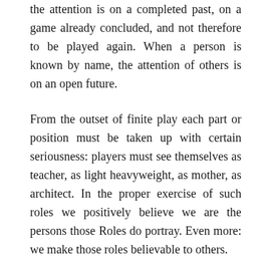the attention is on a completed past, on a game already concluded, and not therefore to be played again. When a person is known by name, the attention of others is on an open future.
From the outset of finite play each part or position must be taken up with certain seriousness: players must see themselves as teacher, as light heavyweight, as mother, as architect. In the proper exercise of such roles we positively believe we are the persons those Roles do portray. Even more: we make those roles believable to others.
Persons who assume a role must suspend their freedom with a proper seriousness in order to act as the role